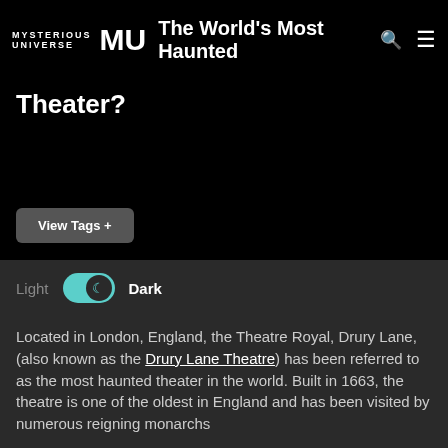MYSTERIOUS UNIVERSE / MU — The World's Most Haunted Theater?
The World's Most Haunted Theater?
View Tags +
Light  Dark
Located in London, England, the Theatre Royal, Drury Lane, (also known as the Drury Lane Theatre) has been referred to as the most haunted theater in the world. Built in 1663, the theatre is one of the oldest in England and has been visited by numerous reigning monarchs